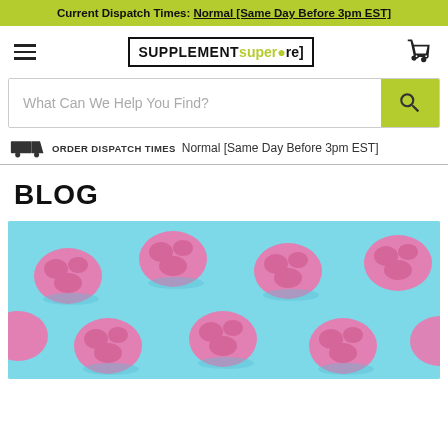Current Dispatch Times: Normal [Same Day Before 3pm EST]
[Figure (logo): Supplement Superstore logo with hamburger menu and cart icon]
What Can We Help You Find?
ORDER DISPATCH TIMES Normal [Same Day Before 3pm EST]
BLOG
[Figure (photo): Pattern of pink brain models on light blue background]